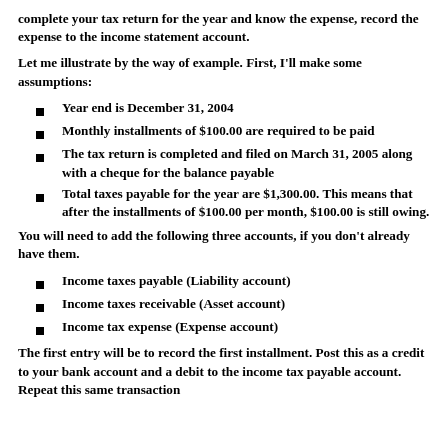complete your tax return for the year and know the expense, record the expense to the income statement account.
Let me illustrate by the way of example. First, I'll make some assumptions:
Year end is December 31, 2004
Monthly installments of $100.00 are required to be paid
The tax return is completed and filed on March 31, 2005 along with a cheque for the balance payable
Total taxes payable for the year are $1,300.00. This means that after the installments of $100.00 per month, $100.00 is still owing.
You will need to add the following three accounts, if you don't already have them.
Income taxes payable (Liability account)
Income taxes receivable (Asset account)
Income tax expense (Expense account)
The first entry will be to record the first installment. Post this as a credit to your bank account and a debit to the income tax payable account. Repeat this same transaction